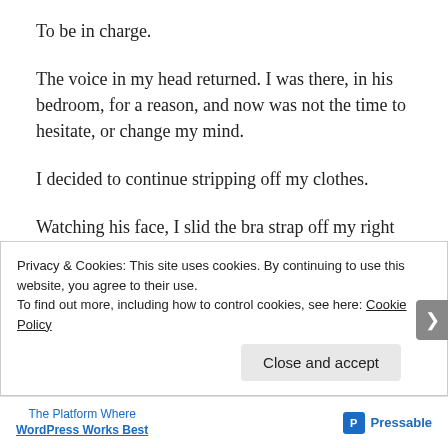To be in charge.
The voice in my head returned. I was there, in his bedroom, for a reason, and now was not the time to hesitate, or change my mind.
I decided to continue stripping off my clothes.
Watching his face, I slid the bra strap off my right shoulder until it was halfway down my arm.
Then I did the same on the other side.
Privacy & Cookies: This site uses cookies. By continuing to use this website, you agree to their use.
To find out more, including how to control cookies, see here: Cookie Policy
Close and accept
The Platform Where WordPress Works Best | Pressable